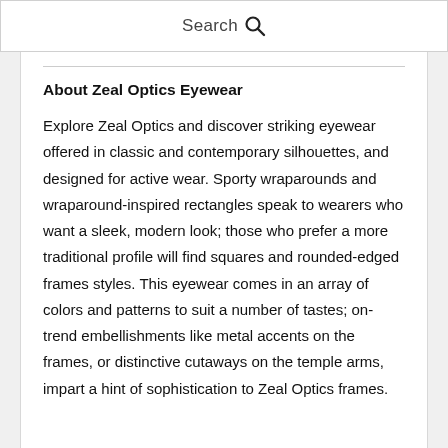Search
About Zeal Optics Eyewear
Explore Zeal Optics and discover striking eyewear offered in classic and contemporary silhouettes, and designed for active wear. Sporty wraparounds and wraparound-inspired rectangles speak to wearers who want a sleek, modern look; those who prefer a more traditional profile will find squares and rounded-edged frames styles. This eyewear comes in an array of colors and patterns to suit a number of tastes; on-trend embellishments like metal accents on the frames, or distinctive cutaways on the temple arms, impart a hint of sophistication to Zeal Optics frames.